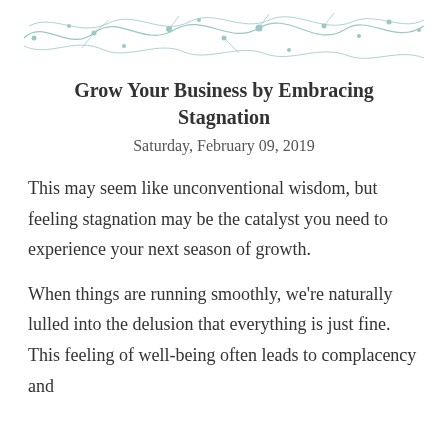[Figure (illustration): Decorative vine/branch pattern with dots and curved lines in teal/grey color across the top of the page]
Grow Your Business by Embracing Stagnation
Saturday, February 09, 2019
This may seem like unconventional wisdom, but feeling stagnation may be the catalyst you need to experience your next season of growth.
When things are running smoothly, we're naturally lulled into the delusion that everything is just fine. This feeling of well-being often leads to complacency and